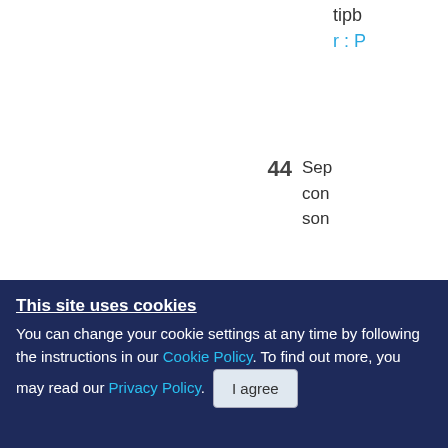tipb
r : P
44  Sep con son
45  Hof R: M ded Me
46  Gre d th
This site uses cookies. You can change your cookie settings at any time by following the instructions in our Cookie Policy. To find out more, you may read our Privacy Policy.